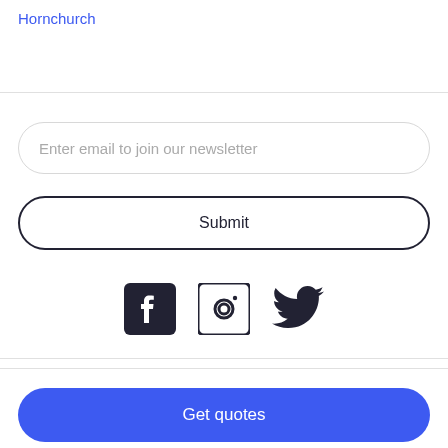Hornchurch
Enter email to join our newsletter
Submit
[Figure (infographic): Social media icons: Facebook, Instagram, Twitter]
Get quotes